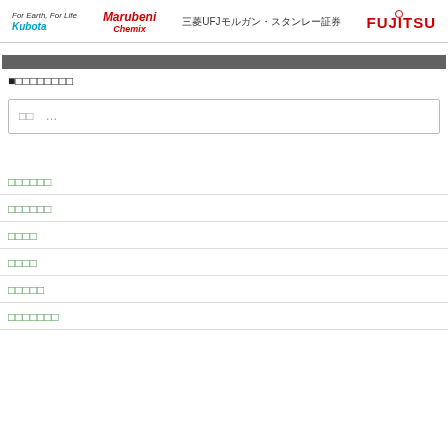For Earth, For Life Kubota | Marubeni Chemix | 三菱UFJモルガン・スタンレー証券 | FUJITSU
■□□□□□□□□
□□ …
□□□□□□
□□□□□□
□□□□
□□□□
□□□□□
□□□□□□□